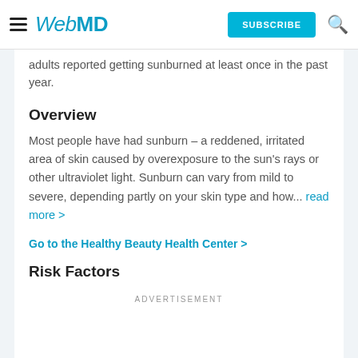WebMD — SUBSCRIBE (button) and search icon
adults reported getting sunburned at least once in the past year.
Overview
Most people have had sunburn – a reddened, irritated area of skin caused by overexposure to the sun's rays or other ultraviolet light. Sunburn can vary from mild to severe, depending partly on your skin type and how... read more >
Go to the Healthy Beauty Health Center >
Risk Factors
ADVERTISEMENT